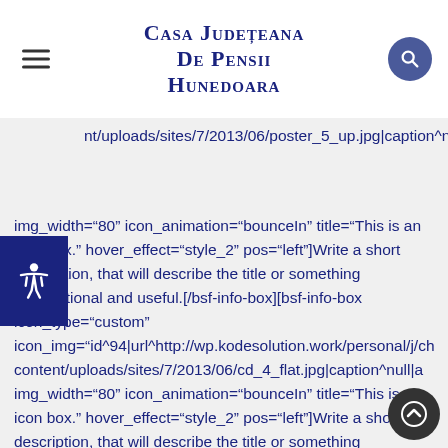Casa Județeana De Pensii Hunedoara
nt/uploads/sites/7/2013/06/poster_5_up.jpg|caption^nu img_width="80" icon_animation="bounceIn" title="This is an icon box." hover_effect="style_2" pos="left"]Write a short description, that will describe the title or something informational and useful.[/bsf-info-box][bsf-info-box icon_type="custom" icon_img="id^94|url^http://wp.kodesolution.work/personal/j/ch content/uploads/sites/7/2013/06/cd_4_flat.jpg|caption^null|a img_width="80" icon_animation="bounceIn" title="This is an icon box." hover_effect="style_2" pos="left"]Write a short description, that will describe the title or something informational and useful.[/bsf-info-box] [bsf-info-box icon_type="custom"